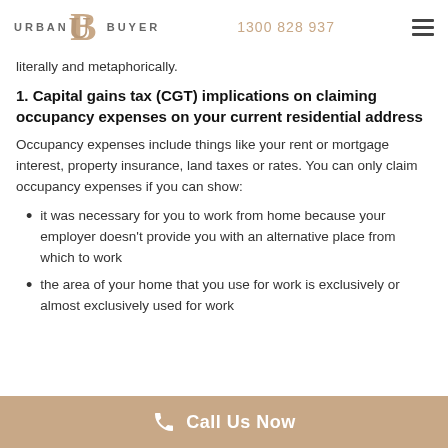URBAN BUYER | 1300 828 937
literally and metaphorically.
1. Capital gains tax (CGT) implications on claiming occupancy expenses on your current residential address
Occupancy expenses include things like your rent or mortgage interest, property insurance, land taxes or rates. You can only claim occupancy expenses if you can show:
it was necessary for you to work from home because your employer doesn't provide you with an alternative place from which to work
the area of your home that you use for work is exclusively or almost exclusively used for work purposes
Call Us Now